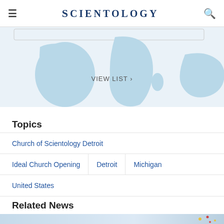Scientology
[Figure (map): World map in light blue showing continents with a VIEW LIST > link overlaid]
Topics
Church of Scientology Detroit
Ideal Church Opening
Detroit
Michigan
United States
Related News
[Figure (photo): Partial image of sky with colorful confetti/balloons visible]